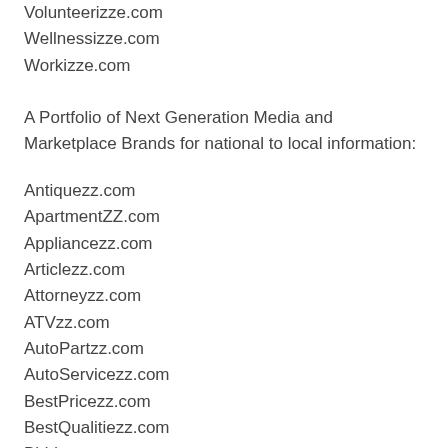Volunteerizze.com
Wellnessizze.com
Workizze.com
A Portfolio of Next Generation Media and Marketplace Brands for national to local information:
Antiquezz.com
ApartmentZZ.com
Appliancezz.com
Articlezz.com
Attorneyzz.com
ATVzz.com
AutoPartzz.com
AutoServicezz.com
BestPricezz.com
BestQualitiezz.com
Bidderzz.com